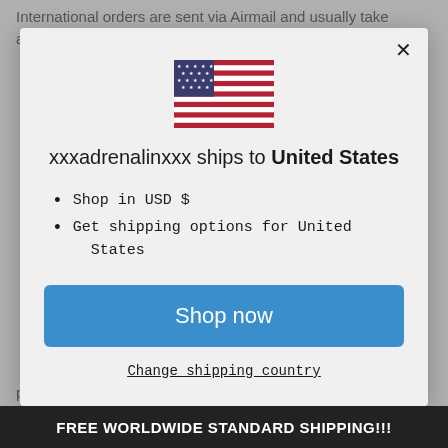International orders are sent via Airmail and usually take around 2-3 weeks to arrive to you.
[Figure (illustration): US flag emoji/icon used in modal dialog]
xxxadrenalinxxx ships to United States
Shop in USD $
Get shipping options for United States
Shop now
Change shipping country
FREE WORLDWIDE STANDARD SHIPPING!!!